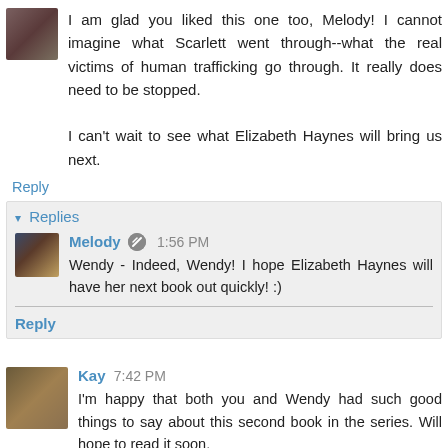I am glad you liked this one too, Melody! I cannot imagine what Scarlett went through--what the real victims of human trafficking go through. It really does need to be stopped.

I can't wait to see what Elizabeth Haynes will bring us next.
Reply
▾ Replies
Melody 1:56 PM
Wendy - Indeed, Wendy! I hope Elizabeth Haynes will have her next book out quickly! :)
Reply
Kay 7:42 PM
I'm happy that both you and Wendy had such good things to say about this second book in the series. Will hope to read it soon.